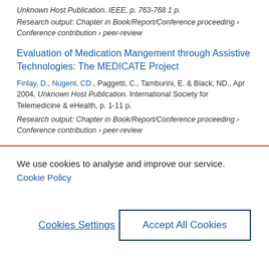Unknown Host Publication. IEEE, p. 763-768 1 p.
Research output: Chapter in Book/Report/Conference proceeding › Conference contribution › peer-review
Evaluation of Medication Mangement through Assistive Technologies: The MEDICATE Project
Finlay, D., Nugent, CD., Paggetti, C., Tamburini, E. & Black, ND., Apr 2004, Unknown Host Publication. International Society for Telemedicine & eHealth, p. 1-11 p.
Research output: Chapter in Book/Report/Conference proceeding › Conference contribution › peer-review
We use cookies to analyse and improve our service. Cookie Policy
Cookies Settings
Accept All Cookies